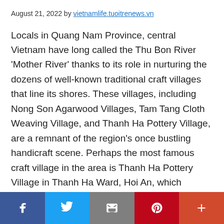August 21, 2022 by vietnamlife.tuoitrenews.vn
Locals in Quang Nam Province, central Vietnam have long called the Thu Bon River 'Mother River' thanks to its role in nurturing the dozens of well-known traditional craft villages that line its shores. These villages, including Nong Son Agarwood Villages, Tam Tang Cloth Weaving Village, and Thanh Ha Pottery Village, are a remnant of the region's once bustling handicraft scene. Perhaps the most famous craft village in the area is Thanh Ha Pottery Village in Thanh Ha Ward, Hoi An, which recently celebrated the Thanh Ha pottery profession commemoration on the 10th
[Figure (infographic): Social media sharing bar with Facebook, Twitter, Email, Pinterest, and More buttons]